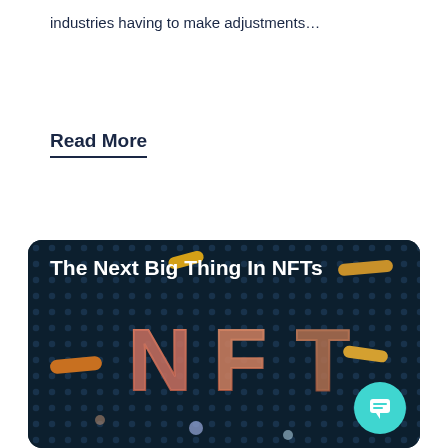industries having to make adjustments…
Read More
[Figure (photo): Dark background image with colorful NFT letters displayed on a perforated panel surface, with decorative colored dash shapes around. Card titled 'The Next Big Thing In NFTs' with a teal chat bubble icon in the bottom right.]